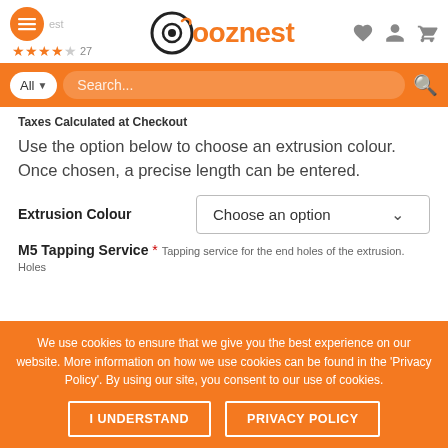[Figure (logo): Ooznest logo with orange circle/eye icon and orange text 'ooznest', hamburger menu button, star rating (4 stars, 27 reviews), heart, person, and cart icons]
[Figure (screenshot): Orange search bar with 'All' dropdown and 'Search...' placeholder and search icon]
Taxes Calculated at Checkout
Use the option below to choose an extrusion colour. Once chosen, a precise length can be entered.
Extrusion Colour   Choose an option
M5 Tapping Service * Tapping service for the end holes of the extrusion. Holes
We use cookies to ensure that we give you the best experience on our website. More information on how we use cookies can be found in the 'Privacy Policy'. By using our site, you consent to our use of cookies.
I UNDERSTAND
PRIVACY POLICY